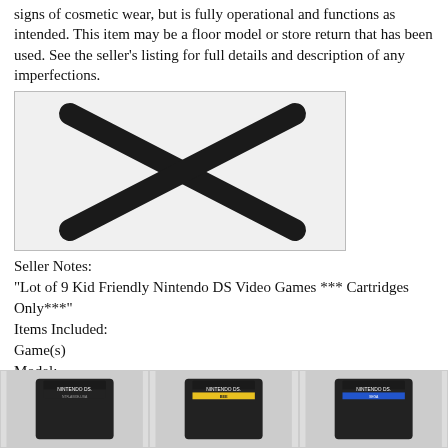signs of cosmetic wear, but is fully operational and functions as intended. This item may be a floor model or store return that has been used. See the seller’s listing for full details and description of any imperfections.
[Figure (other): Placeholder image with an X, indicating no photo available]
Seller Notes:
“Lot of 9 Kid Friendly Nintendo DS Video Games *** Cartridges Only***”
Items Included:
Game(s)
Model:
Nintendo DS
Genre:
Family/Kids
[Figure (photo): Three Nintendo DS game cartridges shown side by side at the bottom of the page]